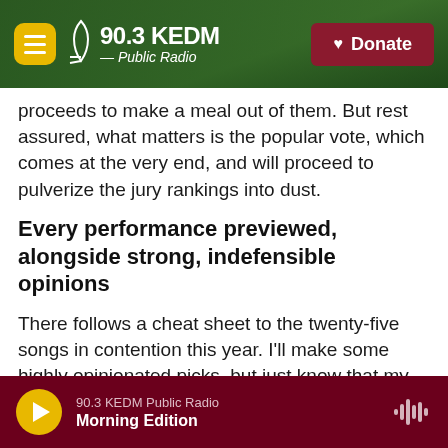90.3 KEDM Public Radio — Donate
proceeds to make a meal out of them. But rest assured, what matters is the popular vote, which comes at the very end, and will proceed to pulverize the jury rankings into dust.
Every performance previewed, alongside strong, indefensible opinions
There follows a cheat sheet to the twenty-five songs in contention this year. I'll make some highly opinionated picks, but just know that my track record is spotty. I'm given to the bops — the simple, infectious, up-tempo dance floor hits — while the
90.3 KEDM Public Radio — Morning Edition